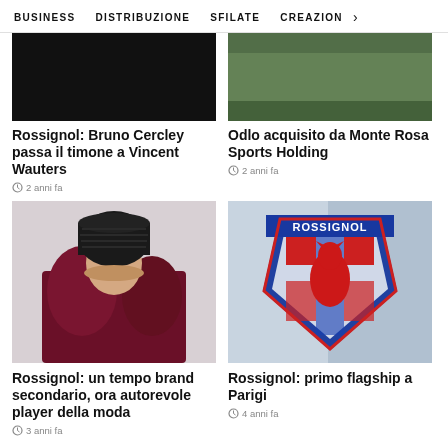BUSINESS   DISTRIBUZIONE   SFILATE   CREAZION  >
[Figure (photo): Dark/black background photo, top-left article image]
[Figure (photo): Green/outdoor background photo, top-right article image]
Rossignol: Bruno Cercley passa il timone a Vincent Wauters
2 anni fa
Odlo acquisito da Monte Rosa Sports Holding
2 anni fa
[Figure (photo): Fashion photo of a woman wearing a black knit hat and dark burgundy puffer jacket]
[Figure (photo): Rossignol logo sign - shield shaped logo with rooster, French flag colors, blue and red]
Rossignol: un tempo brand secondario, ora autorevole player della moda
3 anni fa
Rossignol: primo flagship a Parigi
4 anni fa